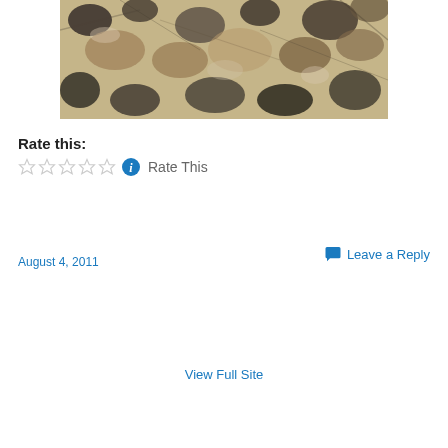[Figure (photo): Close-up blurred photo of animal fur/leopard pattern with brown, black, and white tones]
Rate this:
☆☆☆☆☆ ℹ Rate This
August 4, 2011
💬 Leave a Reply
View Full Site